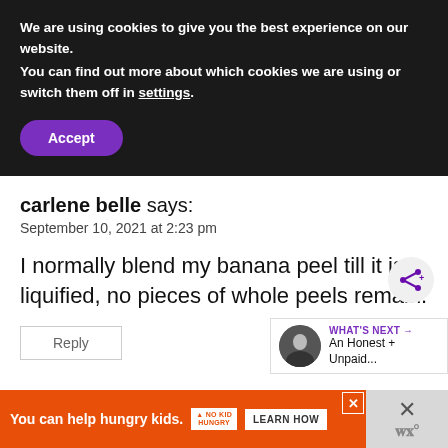We are using cookies to give you the best experience on our website.
You can find out more about which cookies we are using or switch them off in settings.
Accept
carlene belle says:
September 10, 2021 at 2:23 pm
I normally blend my banana peel till it is liquified, no pieces of whole peels remain.
[Figure (screenshot): Share icon button (purple network share icon on light grey circle background)]
[Figure (screenshot): What's Next promotional widget showing a child photo, label 'WHAT'S NEXT →' and text 'An Honest + Unpaid...']
Reply
[Figure (screenshot): Advertisement banner: orange background, text 'You can help hungry kids.' with No Kid Hungry logo and Learn How button. Right side has a grey close panel with X and stylized W logo.]